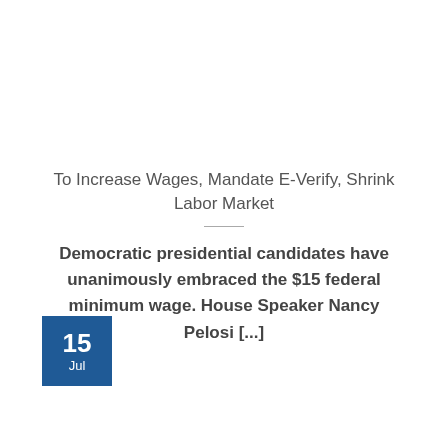To Increase Wages, Mandate E-Verify, Shrink Labor Market
Democratic presidential candidates have unanimously embraced the $15 federal minimum wage. House Speaker Nancy Pelosi [...]
15 Jul